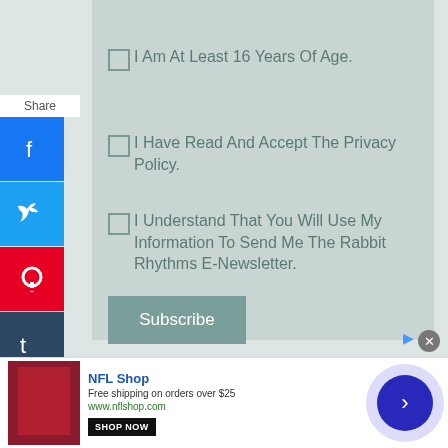[Figure (screenshot): Gray image placeholder at top of form]
I Am At Least 16 Years Of Age.
I Have Read And Accept The Privacy Policy.
I Understand That You Will Use My Information To Send Me The Rabbit Rhythms E-Newsletter.
Subscribe
[Figure (screenshot): Social sharing sidebar with Facebook, Twitter, Pinterest, Tumblr, Reddit, WhatsApp, Messenger icons]
[Figure (screenshot): NFL Shop advertisement banner: Free shipping on orders over $25, www.nflshop.com, SHOP NOW button]